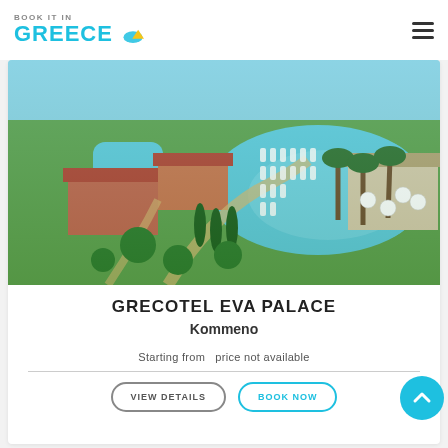BOOK IT IN GREECE
[Figure (photo): Aerial view of Grecotel Eva Palace resort in Kommeno, Greece, showing the large freeform swimming pool with sun loungers, red-roofed villas, lush green gardens, and the sea in the background.]
GRECOTEL EVA PALACE
Kommeno
Starting from   price not available
VIEW DETAILS
BOOK NOW